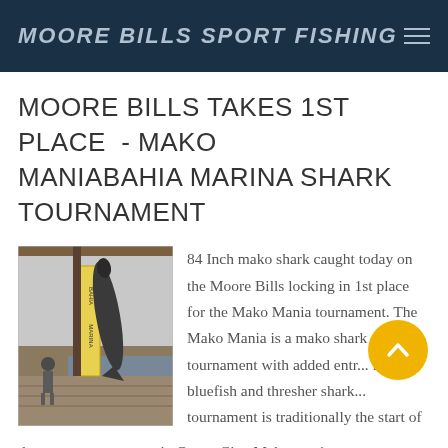MOORE BILLS SPORT FISHING
MOORE BILLS TAKES 1ST PLACE - MAKO MANIABAHIA MARINA SHARK TOURNAMENT
[Figure (photo): A large mako shark hanging at a marina dock with a Bahia Marina sign. A person stands nearby.]
84 Inch mako shark caught today on the Moore Bills locking in 1st place for the Mako Mania tournament. The Mako Mania is a mako shark tournament with added entr... for bluefish and thresher shark... tournament is traditionally the start of the tournament season in Ocean City. Mako mania was